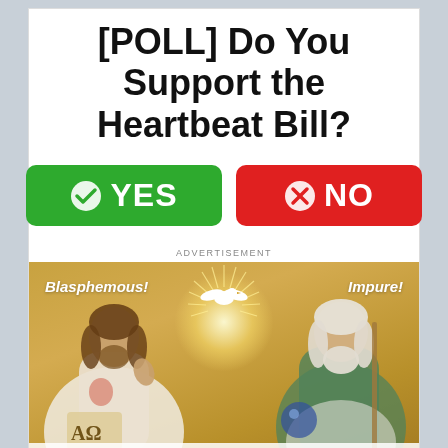[POLL] Do You Support the Heartbeat Bill?
[Figure (infographic): Poll widget with YES button (green, checkmark) and NO button (red, X mark)]
ADVERTISEMENT
[Figure (photo): Religious painting showing Jesus and God the Father with a dove (Holy Spirit) above, overlaid with text labels 'Blasphemous!' and 'Impure!' and a bottom caption '"Holy Trinity Bikini"']